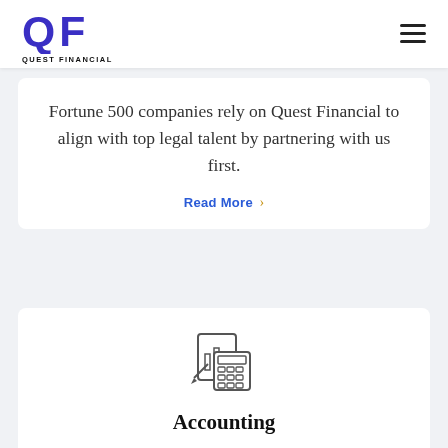QUEST FINANCIAL
Fortune 500 companies rely on Quest Financial to align with top legal talent by partnering with us first.
Read More >
[Figure (illustration): Line-art icon of a calculator with a document/chart behind it]
Accounting
Quest Financial has a proven track record of providing skilled accounting professionals that assist their offices in the delivery...